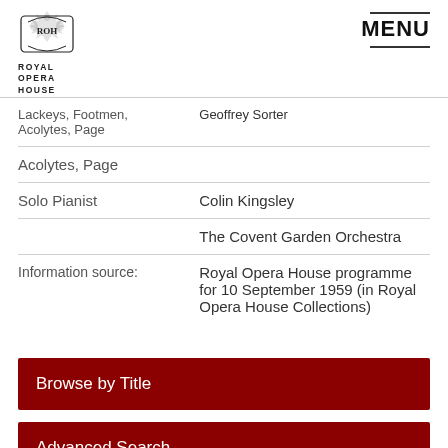ROYAL OPERA HOUSE — MENU
| Role | Person/Org |
| --- | --- |
| Lackeys, Footmen, Acolytes, Page | Geoffrey Sorter |
| Solo Pianist | Colin Kingsley |
|  | The Covent Garden Orchestra |
| Information source: | Royal Opera House programme for 10 September 1959 (in Royal Opera House Collections) |
Browse by Title
Advanced Search